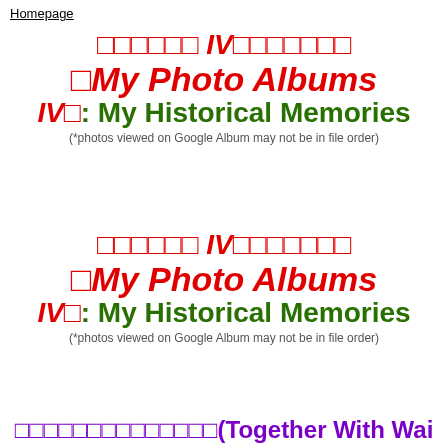Homepage
□□□□□□ IV□□□□□□□
□My Photo Albums
IV□: My Historical Memories
(*photos viewed on Google Album may not be in file order)
□□□□□□ IV□□□□□□□
□My Photo Albums
IV□: My Historical Memories
(*photos viewed on Google Album may not be in file order)
□□□□□□□□□□□□□□(Together With Wai